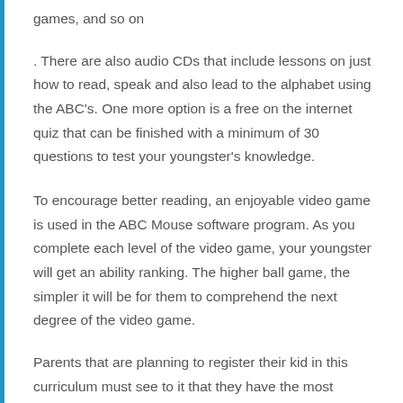games, and so on
. There are also audio CDs that include lessons on just how to read, speak and also lead to the alphabet using the ABC's. One more option is a free on the internet quiz that can be finished with a minimum of 30 questions to test your youngster's knowledge.
To encourage better reading, an enjoyable video game is used in the ABC Mouse software program. As you complete each level of the video game, your youngster will get an ability ranking. The higher ball game, the simpler it will be for them to comprehend the next degree of the video game.
Parents that are planning to register their kid in this curriculum must see to it that they have the most effective educational alternatives for their kid. The ABC Mouse is among the most effective options due to the fact that it has been established